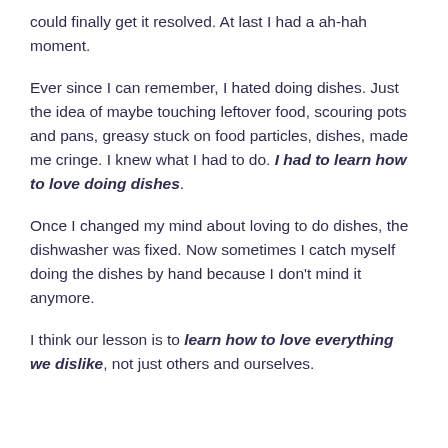could finally get it resolved. At last I had a ah-hah moment.
Ever since I can remember, I hated doing dishes. Just the idea of maybe touching leftover food, scouring pots and pans, greasy stuck on food particles, dishes, made me cringe. I knew what I had to do. I had to learn how to love doing dishes.
Once I changed my mind about loving to do dishes, the dishwasher was fixed. Now sometimes I catch myself doing the dishes by hand because I don't mind it anymore.
I think our lesson is to learn how to love everything we dislike, not just others and ourselves.